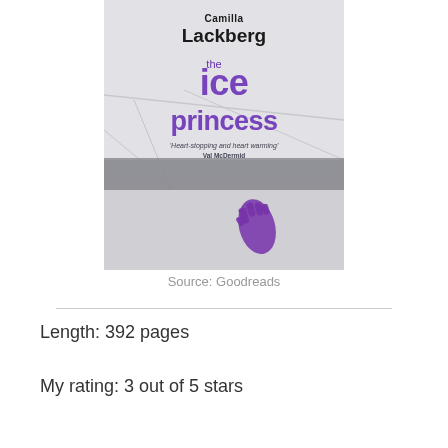[Figure (illustration): Book cover of 'The Ice Princess' by Camilla Lackberg. Shows the author name 'Camilla Lackberg' in large black text at top, then 'the ice princess' in large purple/violet text, a quote 'Heart-stopping and heart warming' Val McDermid, and an image of icy surface with a purple gloved hand visible at the bottom.]
Source: Goodreads
Length: 392 pages
My rating: 3 out of 5 stars